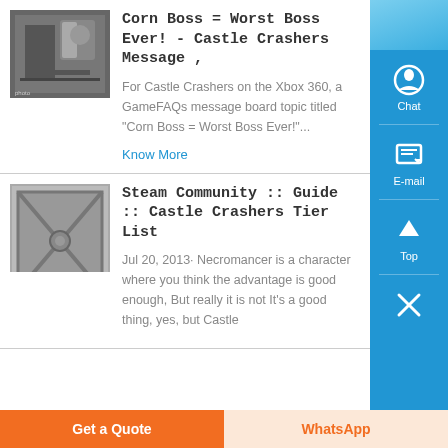Corn Boss = Worst Boss Ever! - Castle Crashers Message ,
For Castle Crashers on the Xbox 360, a GameFAQs message board topic titled "Corn Boss = Worst Boss Ever!"...
Know More
[Figure (photo): Thumbnail of industrial machinery/equipment]
Steam Community :: Guide :: Castle Crashers Tier List
Jul 20, 2013· Necromancer is a character where you think the advantage is good enough, But really it is not It's a good thing, yes, but Castle
[Figure (photo): Thumbnail of a door or gate with cross pattern]
Get a Quote
WhatsApp